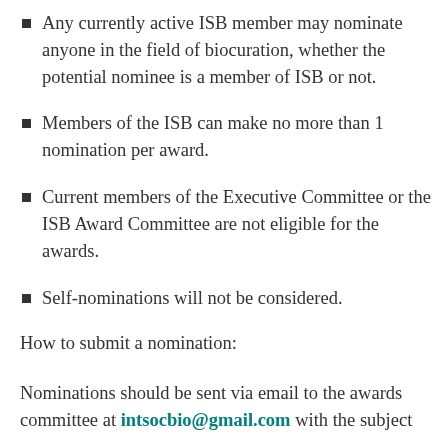Any currently active ISB member may nominate anyone in the field of biocuration, whether the potential nominee is a member of ISB or not.
Members of the ISB can make no more than 1 nomination per award.
Current members of the Executive Committee or the ISB Award Committee are not eligible for the awards.
Self-nominations will not be considered.
How to submit a nomination:
Nominations should be sent via email to the awards committee at intsocbio@gmail.com with the subject